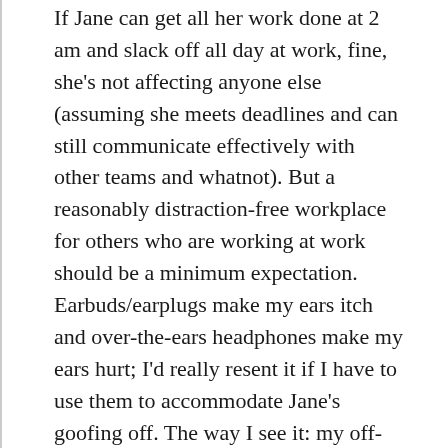If Jane can get all her work done at 2 am and slack off all day at work, fine, she's not affecting anyone else (assuming she meets deadlines and can still communicate effectively with other teams and whatnot). But a reasonably distraction-free workplace for others who are working at work should be a minimum expectation. Earbuds/earplugs make my ears itch and over-the-ears headphones make my ears hurt; I'd really resent it if I have to use them to accommodate Jane's goofing off. The way I see it: my off-time activities and video games are done in my home, and thus doesn't affect Jane's 2 am productivity hours; her chatter and other choices of non-work shouldn't affect my productivity either.
I generally agree with your views, but for those people who prefer nonconventional schedules…that's what telecommuting is for.